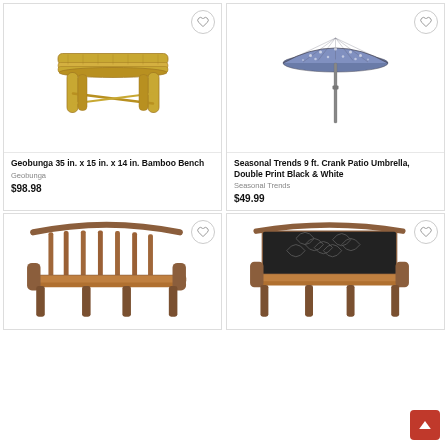[Figure (photo): Bamboo bench product photo on white background]
Geobunga 35 in. x 15 in. x 14 in. Bamboo Bench
Geobunga
$98.98
[Figure (photo): Patio umbrella with blue and white double print pattern on white background]
Seasonal Trends 9 ft. Crank Patio Umbrella, Double Print Black & White
Seasonal Trends
$49.99
[Figure (photo): Wooden outdoor bench with slatted back on white background]
[Figure (photo): Outdoor bench with decorative black metal back panel with leaf pattern on white background]